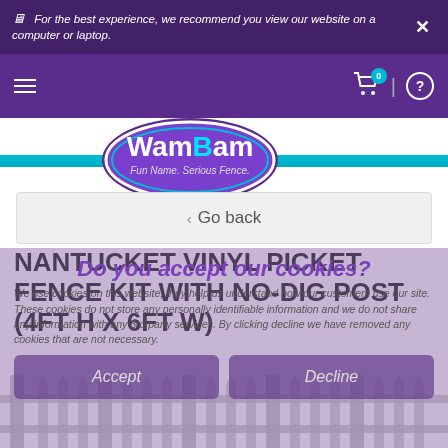For the best experience, we recommend you view our website on a computer or laptop.
[Figure (screenshot): WamBam Fence website header with purple background, WamBam logo, hamburger menu, cart icon with 0 badge, and help icon]
‹ Go back
NANTUCKET VINYL PICKET FENCE KIT WITH NO-DIG POST (4FT H X 6FT W)
Do you accept our cookies?
We use cookies on this website, they help us understand how our customers use our site. These cookies do not store any personally identifiable information and we do not share any information with any 3rd party services. By clicking decline we have removed any cookies that are not necessary.
Accept
Decline